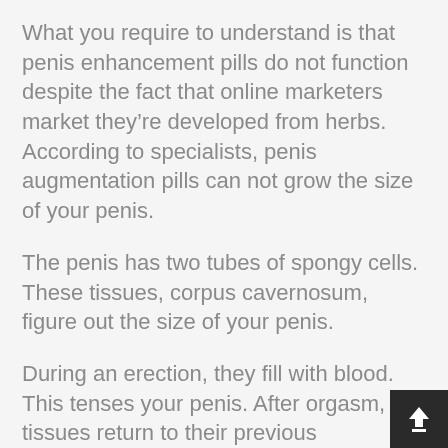What you require to understand is that penis enhancement pills do not function despite the fact that online marketers market they’re developed from herbs. According to specialists, penis augmentation pills can not grow the size of your penis.
The penis has two tubes of spongy cells. These tissues, corpus cavernosum, figure out the size of your penis.
During an erection, they fill with blood. This tenses your penis. After orgasm, the tissues return to their previous dimension. Primarily, the quantity and also consistency of these tissues in your penis do not change post-puberty.
Besides the capability of not increasing the amount of corpus cavernosum in your penis, the pills have adverse effects and also prospective